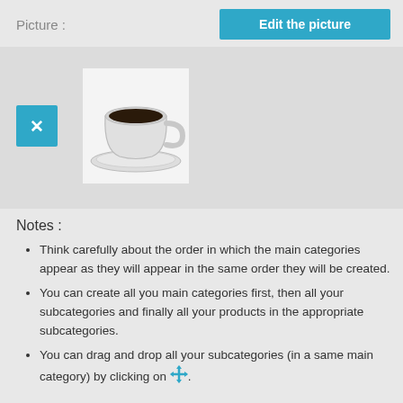Picture :
Edit the picture
[Figure (photo): A white coffee cup on a saucer with black coffee, on a light background. A teal/blue 'x' button appears to the left.]
Notes :
Think carefully about the order in which the main categories appear as they will appear in the same order they will be created.
You can create all you main categories first, then all your subcategories and finally all your products in the appropriate subcategories.
You can drag and drop all your subcategories (in a same main category) by clicking on [move icon].